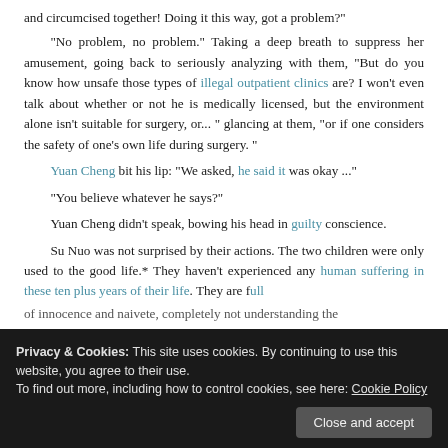and circumcised together! Doing it this way, got a problem?"

"No problem, no problem." Taking a deep breath to suppress her amusement, going back to seriously analyzing with them, "But do you know how unsafe those types of illegal outpatient clinics are? I won't even talk about whether or not he is medically licensed, but the environment alone isn't suitable for surgery, or... " glancing at them, "or if one considers the safety of one's own life during surgery."

Yuan Cheng bit his lip: "We asked, he said it was okay ..."

"You believe whatever he says?"

Yuan Cheng didn't speak, bowing his head in guilty conscience.

Su Nuo was not surprised by their actions. The two children were only used to the good life.* They haven't experienced any human suffering in these ten plus years of their life. They are full of innocence and naivete, completely not understanding the
Privacy & Cookies: This site uses cookies. By continuing to use this website, you agree to their use.
To find out more, including how to control cookies, see here: Cookie Policy